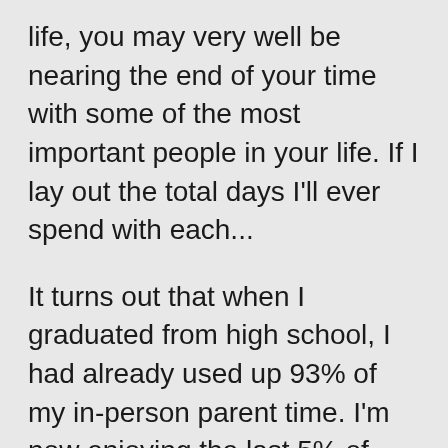life, you may very well be nearing the end of your time with some of the most important people in your life. If I lay out the total days I'll ever spend with each...
It turns out that when I graduated from high school, I had already used up 93% of my in-person parent time. I'm now enjoying the last 5% of that time. We're in the tail end.
It's a similar story with my two sisters. After living in a house with them for 10 and 13 years respectively, I now live across the country from both of them and spend maybe 15 days with